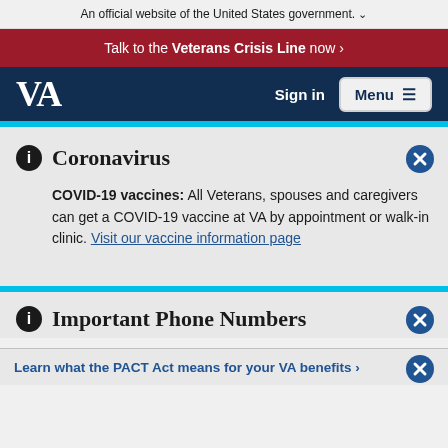An official website of the United States government. ❯
Talk to the Veterans Crisis Line now ❯
VA | Sign in | Menu
Coronavirus
COVID-19 vaccines: All Veterans, spouses and caregivers can get a COVID-19 vaccine at VA by appointment or walk-in clinic. Visit our vaccine information page
Important Phone Numbers
Learn what the PACT Act means for your VA benefits >